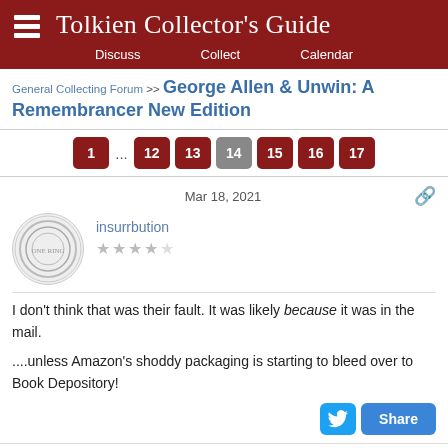Tolkien Collector's Guide — Discuss / Collect / Calendar
General Collecting Forum >> George Allen & Unwin: A Remembrancer New Edition
Pagination: 1 ... 12 13 14 15 16 17
Mar 18, 2021 — insurrbution — I don't think that was their fault. It was likely because it was in the mail.

....unless Amazon's shoddy packaging is starting to bleed over to Book Depository!
Mar 18, 2021